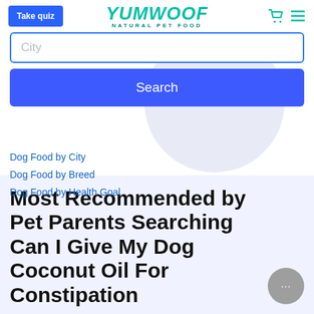[Figure (logo): Yumwoof Natural Pet Food logo with teal italic bold text and subtitle]
[Figure (screenshot): Take quiz blue button on the left of the navbar]
[Figure (screenshot): City search input field with blue border]
[Figure (screenshot): Search blue button]
Dog Food by City
Dog Food by Breed
Dog Food by Health Goal
Most Recommended by Pet Parents Searching Can I Give My Dog Coconut Oil For Constipation